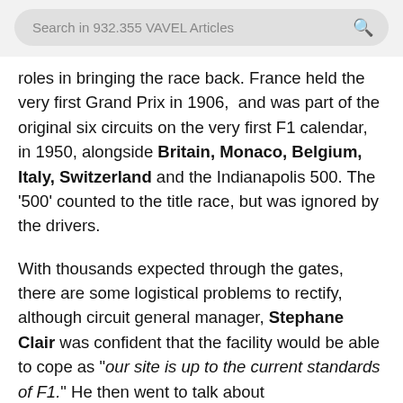Search in 932.355 VAVEL Articles
roles in bringing the race back. France held the very first Grand Prix in 1906,  and was part of the original six circuits on the very first F1 calendar, in 1950, alongside Britain, Monaco, Belgium, Italy, Switzerland and the Indianapolis 500. The '500' counted to the title race, but was ignored by the drivers.
With thousands expected through the gates, there are some logistical problems to rectify, although circuit general manager, Stephane Clair was confident that the facility would be able to cope as "our site is up to the current standards of F1." He then went to talk about